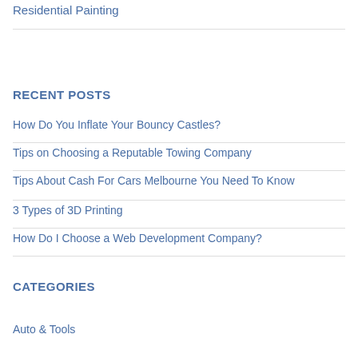Residential Painting
RECENT POSTS
How Do You Inflate Your Bouncy Castles?
Tips on Choosing a Reputable Towing Company
Tips About Cash For Cars Melbourne You Need To Know
3 Types of 3D Printing
How Do I Choose a Web Development Company?
CATEGORIES
Auto & Tools